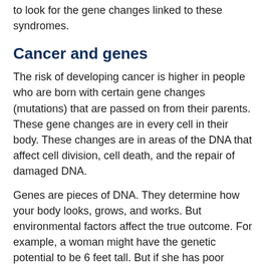to look for the gene changes linked to these syndromes.
Cancer and genes
The risk of developing cancer is higher in people who are born with certain gene changes (mutations) that are passed on from their parents. These gene changes are in every cell in their body. These changes are in areas of the DNA that affect cell division, cell death, and the repair of damaged DNA.
Genes are pieces of DNA. They determine how your body looks, grows, and works. But environmental factors affect the true outcome. For example, a woman might have the genetic potential to be 6 feet tall. But if she has poor nutrition as a child, she may not reach that height. Or a woman may have a genetic risk of developing breast cancer. But whether she develops it may be affected by things she has contact with during her lifetime.